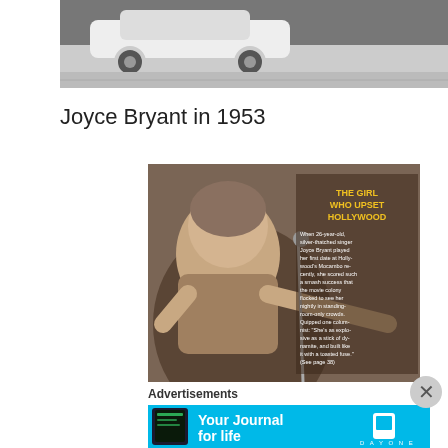[Figure (photo): Black and white photograph of a vintage car on a street, partial view showing front/side of the vehicle]
Joyce Bryant in 1953
[Figure (photo): Magazine cover or article image showing Joyce Bryant singing, with text overlay reading 'THE GIRL WHO UPSET HOLLYWOOD' in yellow, followed by body text about her performance at Hollywood's Mocambo club]
Advertisements
[Figure (photo): Advertisement banner for Day One journal app with text 'Your Journal for life' on a blue background with phone image and Day One logo]